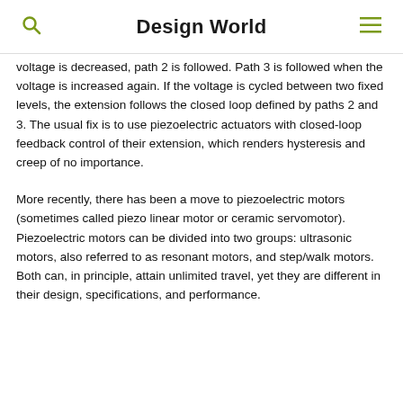Design World
voltage is decreased, path 2 is followed. Path 3 is followed when the voltage is increased again. If the voltage is cycled between two fixed levels, the extension follows the closed loop defined by paths 2 and 3. The usual fix is to use piezoelectric actuators with closed-loop feedback control of their extension, which renders hysteresis and creep of no importance.
More recently, there has been a move to piezoelectric motors (sometimes called piezo linear motor or ceramic servomotor). Piezoelectric motors can be divided into two groups: ultrasonic motors, also referred to as resonant motors, and step/walk motors. Both can, in principle, attain unlimited travel, yet they are different in their design, specifications, and performance.